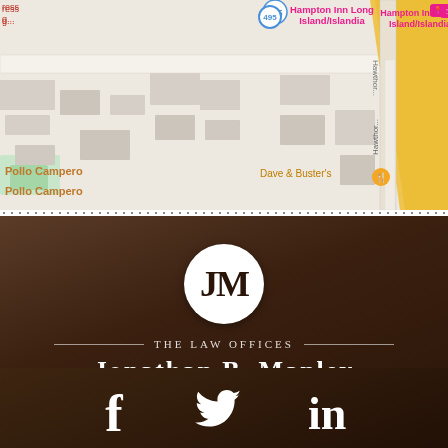[Figure (map): Google Maps screenshot showing an area near Hampton Inn Long Island/Islandia with landmarks including Dave & Buster's, Walmart, Pollo Campero, and road 495 visible. A vertical street labeled Hawthorn is visible. Map roads shown in grey and white, with a yellow diagonal road on the right.]
[Figure (logo): The Law Offices of Jonathan B. Manley logo. White circle with JM monogram in serif font. Below: 'THE LAW OFFICES' in small caps with decorative lines, then 'JONATHAN B. MANLEY' in large serif text, all on dark brown background.]
[Figure (illustration): Social media icons row: Facebook (f), Twitter (bird), LinkedIn (in) icons in white on dark brown background.]